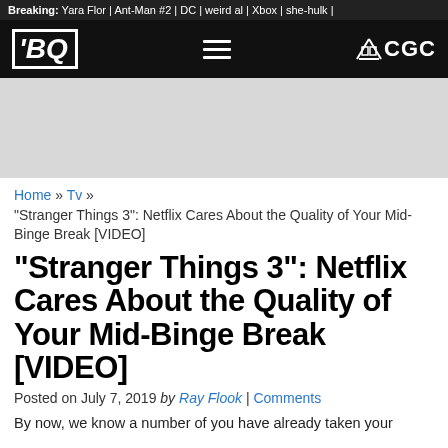Breaking: Yara Flor | Ant-Man #2 | DC | weird al | Xbox | she-hulk |
[Figure (logo): BCQ logo (stylized BC letters in a box) with hamburger menu icon and CGC logo with scales icon on black navigation bar]
[Figure (other): Gray advertisement banner placeholder]
Home » Tv » "Stranger Things 3": Netflix Cares About the Quality of Your Mid-Binge Break [VIDEO]
"Stranger Things 3": Netflix Cares About the Quality of Your Mid-Binge Break [VIDEO]
Posted on July 7, 2019 by Ray Flook | Comments
By now, we know a number of you have already taken your